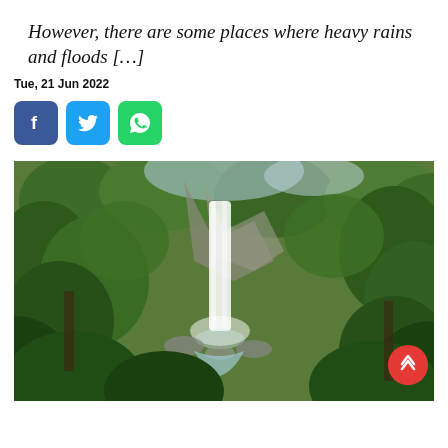However, there are some places where heavy rains and floods […]
Tue, 21 Jun 2022
[Figure (other): Social media share buttons: Facebook (blue), Twitter (light blue), WhatsApp (green)]
[Figure (photo): A lush green tropical forest with a tall waterfall cascading down rocky cliffs surrounded by dense green foliage and trees.]